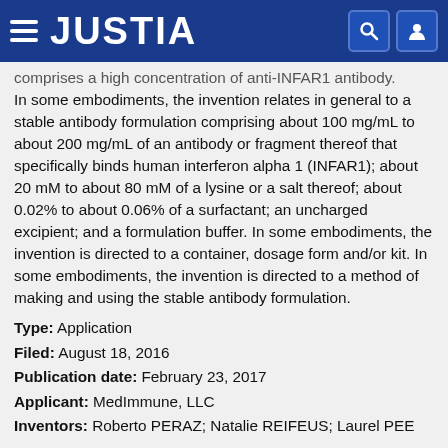JUSTIA
comprises a high concentration of anti-INFAR1 antibody. In some embodiments, the invention relates in general to a stable antibody formulation comprising about 100 mg/mL to about 200 mg/mL of an antibody or fragment thereof that specifically binds human interferon alpha 1 (INFAR1); about 20 mM to about 80 mM of a lysine or a salt thereof; about 0.02% to about 0.06% of a surfactant; an uncharged excipient; and a formulation buffer. In some embodiments, the invention is directed to a container, dosage form and/or kit. In some embodiments, the invention is directed to a method of making and using the stable antibody formulation.
Type: Application
Filed: August 18, 2016
Publication date: February 23, 2017
Applicant: MedImmune, LLC
Inventors: Roberto PERAZ; Natalie REIFEUS; Laurel PEE...